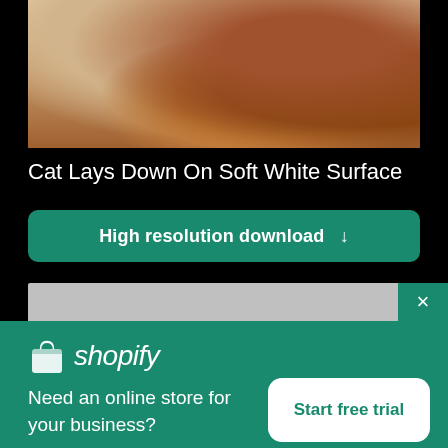[Figure (photo): A cat lying down on a soft white surface, photographed from above, showing orange/brown fur]
Cat Lays Down On Soft White Surface
High resolution download ↓
[Figure (screenshot): Gray banner strip with teal close button (×)]
[Figure (logo): Shopify logo (white bag icon + white shopify wordmark) on teal background]
Need an online store for your business?
Start free trial